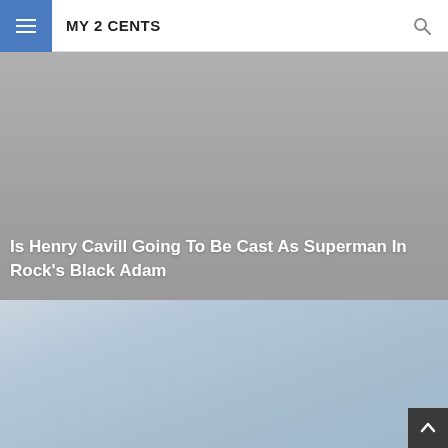MY 2 CENTS
Is Henry Cavill Going To Be Cast As Superman In Rock’s Black Adam
[Figure (photo): Light blue-gray gradient background, appears to be a partially loaded or placeholder image area for an article about Henry Cavill as Superman in Black Adam]